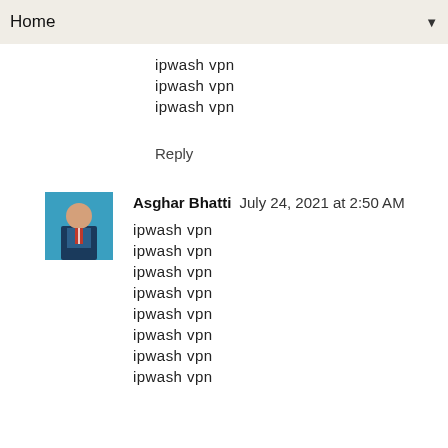Home ▼
ipwash vpn
ipwash vpn
ipwash vpn
Reply
Asghar Bhatti  July 24, 2021 at 2:50 AM
ipwash vpn
ipwash vpn
ipwash vpn
ipwash vpn
ipwash vpn
ipwash vpn
ipwash vpn
ipwash vpn